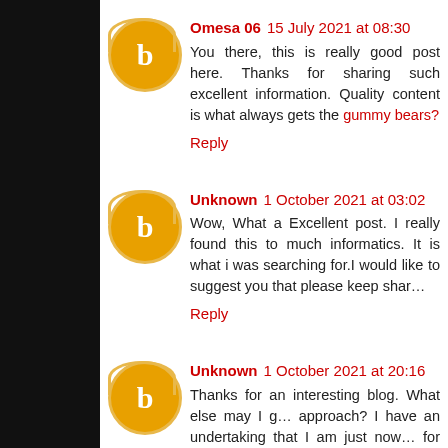Omesa 06  15 July 2021 at 08:30
You there, this is really good post here. Thanks for sharing such excellent information. Quality content is what always gets the gummy bears?
Reply
Unknown  1 October 2021 at 03:02
Wow, What a Excellent post. I really found this to much informatics. It is what i was searching for.I would like to suggest you that please keep sharing such type of info.
Reply
Unknown  1 October 2021 at 20:16
Thanks for an interesting blog. What else may I get that kind of info written in such a perfect approach? I have an undertaking that I am just now working on, and I have been on the look out for such info. АҚШ визасына өтініш
Reply